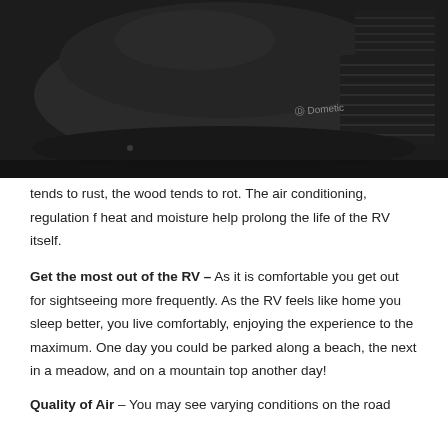[Figure (photo): Black Dometic RV rooftop air conditioning unit photographed from a low angle against a dark background. The unit is dark/black in color with ventilation grilles visible on the side and the Dometic brand logo visible on the surface.]
tends to rust, the wood tends to rot. The air conditioning, regulation f heat and moisture help prolong the life of the RV itself.
Get the most out of the RV – As it is comfortable you get out for sightseeing more frequently. As the RV feels like home you sleep better, you live comfortably, enjoying the experience to the maximum. One day you could be parked along a beach, the next in a meadow, and on a mountain top another day!
Quality of Air – You may see varying conditions on the road